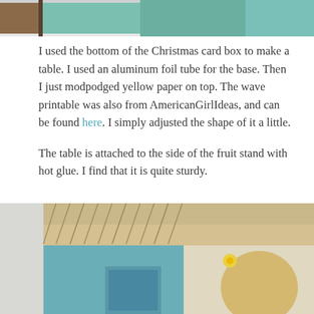[Figure (photo): Top portion of a photo showing what appears to be a teal/green and brown colored craft project or diorama]
I used the bottom of the Christmas card box to make a table. I used an aluminum foil tube for the base. Then I just modpodged yellow paper on top. The wave printable was also from AmericanGirlIdeas, and can be found here. I simply adjusted the shape of it a little.
The table is attached to the side of the fruit stand with hot glue. I find that it is quite sturdy.
[Figure (photo): Bottom portion of a photo showing a thatched roof structure and what appears to be a doll's head with a yellow flower in her hair, against a light background]